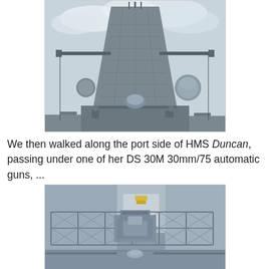[Figure (photo): Close-up photograph of a naval ship's mast and superstructure (HMS Duncan), showing radar equipment, antennas, sensor domes, and various electronic equipment against a cloudy sky background.]
We then walked along the port side of HMS Duncan, passing under one of her DS 30M 30mm/75 automatic guns, ...
[Figure (photo): Photograph showing a DS 30M 30mm/75 automatic gun mounted on the deck of HMS Duncan, with fencing/safety rails visible and ship superstructure in the background.]